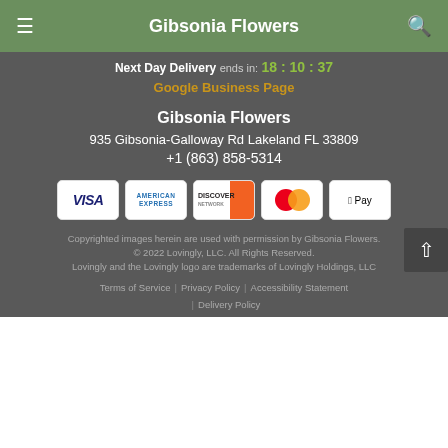Gibsonia Flowers
Next Day Delivery ends in: 18 : 10 : 37
Google Business Page
Gibsonia Flowers
935 Gibsonia-Galloway Rd Lakeland FL 33809
+1 (863) 858-5314
[Figure (other): Payment method icons: Visa, American Express, Discover, Mastercard, Apple Pay]
Copyrighted images herein are used with permission by Gibsonia Flowers.
© 2022 Lovingly, LLC. All Rights Reserved.
Lovingly and the Lovingly logo are trademarks of Lovingly Holdings, LLC
Terms of Service | Privacy Policy | Accessibility Statement | Delivery Policy